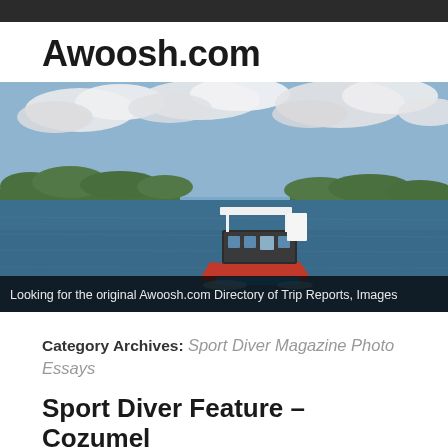Awoosh.com
[Figure (photo): A small passenger boat on a wide lake or river with forested green shores and a partly cloudy sky. The boat has a white canopy and red/blue hull. Caption bar at bottom reads: Looking for the original Awoosh.com Directory of Trip Reports, Images]
Looking for the original Awoosh.com Directory of Trip Reports, Images
Category Archives: Sport Diver Magazine Photo Essays
Sport Diver Feature – Cozumel